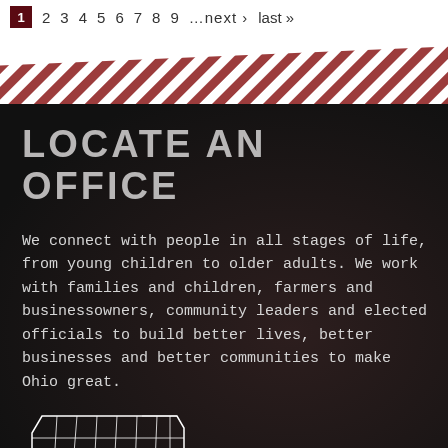1 2 3 4 5 6 7 8 9 …next › last »
[Figure (infographic): Diagonal red and white stripe divider pattern]
LOCATE AN OFFICE
We connect with people in all stages of life, from young children to older adults. We work with families and children, farmers and businessowners, community leaders and elected officials to build better lives, better businesses and better communities to make Ohio great.
[Figure (map): Outline map of Ohio showing county boundaries in white on dark background]